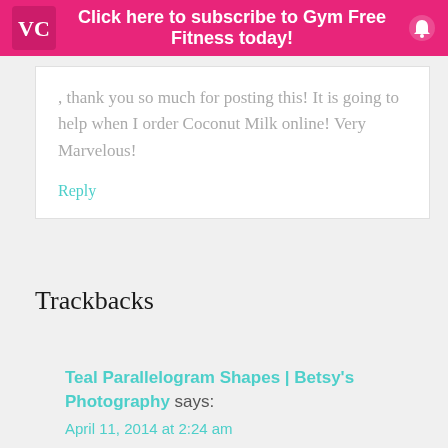Click here to subscribe to Gym Free Fitness today!
, thank you so much for posting this! It is going to help when I order Coconut Milk online! Very Marvelous!
Reply
Trackbacks
Teal Parallelogram Shapes | Betsy's Photography says:
April 11, 2014 at 2:24 am
[...] Thai Coconut Soup (Tom Kha Gai) [...]